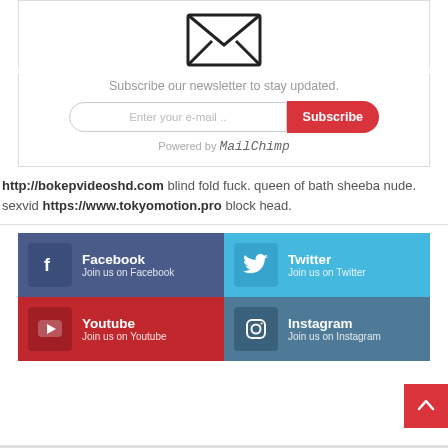[Figure (illustration): Envelope icon (newsletter subscription)]
Subscribe our newsletter to stay updated.
[Figure (infographic): Email subscription input field with Subscribe button and 'Powered by MailChimp' text]
http://bokepvideoshd.com blind fold fuck. queen of bath sheeba nude. sexvid https://www.tokyomotion.pro block head.
[Figure (infographic): Social media follow buttons grid: Facebook, Twitter, Youtube, Instagram]
[Figure (other): Back to top arrow button]